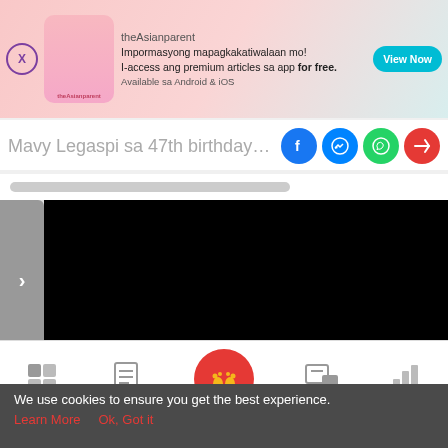[Figure (screenshot): theAsianparent app advertisement banner with close button, app icon, tagline in Filipino, and View Now button]
Mavy Legaspi sa 47th birthday ni Car
[Figure (screenshot): Social sharing icons: Facebook, Messenger, WhatsApp, Share]
[Figure (screenshot): Gray progress/loading bar]
[Figure (screenshot): Video player area with navigation arrow and black video frame]
[Figure (screenshot): Bottom navigation bar with Tools, Articles, home (baby feet icon), Feed, Poll]
We use cookies to ensure you get the best experience.
Learn More   Ok, Got it